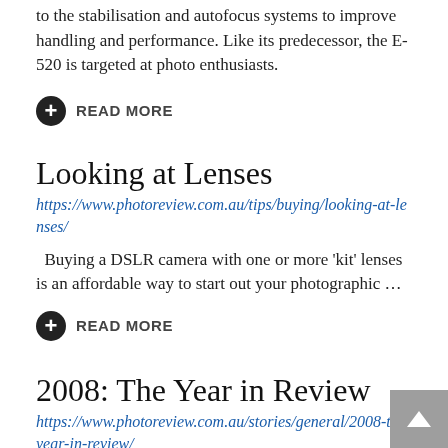to the stabilisation and autofocus systems to improve handling and performance. Like its predecessor, the E-520 is targeted at photo enthusiasts.
READ MORE
Looking at Lenses
https://www.photoreview.com.au/tips/buying/looking-at-lenses/
Buying a DSLR camera with one or more 'kit' lenses is an affordable way to start out your photographic …
READ MORE
2008: The Year in Review
https://www.photoreview.com.au/stories/general/2008-the-year-in-review/
Photography news highlights from 2008.